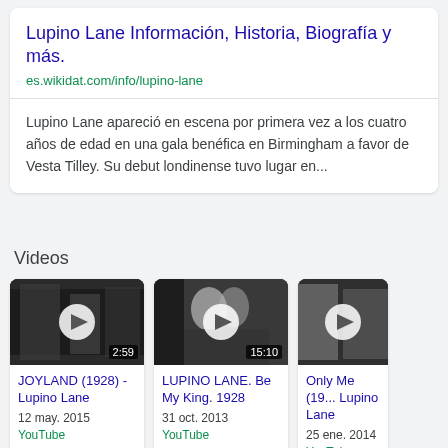Lupino Lane Información, Historia, Biografía y más.
es.wikidat.com/info/lupino-lane
Lupino Lane apareció en escena por primera vez a los cuatro años de edad en una gala benéfica en Birmingham a favor de Vesta Tilley. Su debut londinense tuvo lugar en...
Videos
[Figure (screenshot): Video thumbnail for JOYLAND (1928) - Lupino Lane, black and white film still, duration 2:59]
JOYLAND (1928) - Lupino Lane
12 may. 2015
YouTube
[Figure (screenshot): Video thumbnail for LUPINO LANE. Be My King. 1928, black and white film still, duration 15:10]
LUPINO LANE. Be My King. 1928
31 oct. 2013
YouTube
[Figure (screenshot): Video thumbnail for Only Me (19... Lupino Lane, black and white film still, partially cut off]
Only Me (19... Lupino Lane
25 ene. 2014
YouTube